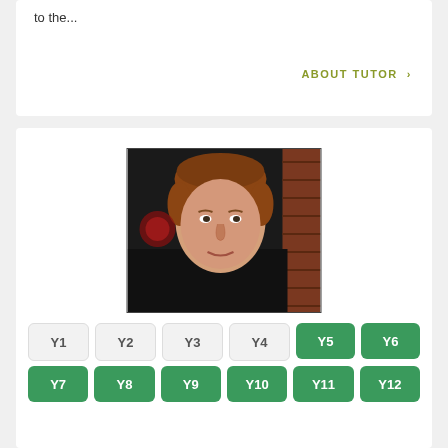to the...
ABOUT TUTOR >
[Figure (photo): Portrait photo of a young man with short reddish-brown hair wearing a black shirt, photographed indoors with brick wall visible in background]
Y1
Y2
Y3
Y4
Y5
Y6
Y7
Y8
Y9
Y10
Y11
Y12